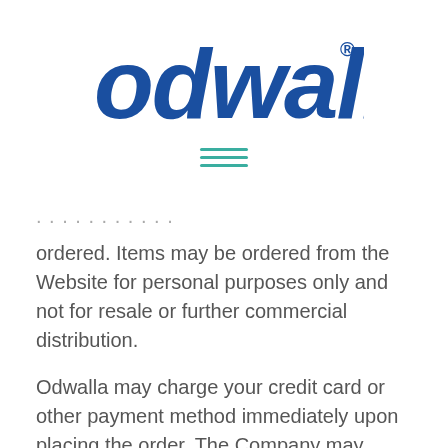[Figure (logo): Odwalla brand logo in bold blue italic font with registered trademark symbol]
[Figure (other): Hamburger menu icon consisting of three teal horizontal lines]
ordered.  Items may be ordered from the Website for personal purposes only and not for resale or further commercial distribution.
Odwalla may charge your credit card or other payment method immediately upon placing the order.  The Company may request a pre-authorization for credit card